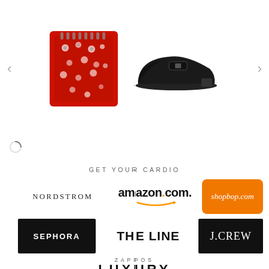[Figure (photo): Product carousel showing a red patterned bag/accessory on the left and a black leather loafer shoe on the right, with left and right navigation arrows]
[Figure (other): Loading spinner (circular arc)]
GET YOUR CARDIO
[Figure (logo): NORDSTROM logo in serif letters]
[Figure (logo): amazon.com logo with orange swoosh arrow]
[Figure (logo): shopbop.com logo on orange rounded rectangle background]
[Figure (logo): SEPHORA logo on black background]
[Figure (logo): THE LINE logo in bold black text]
[Figure (logo): J.CREW logo on black background in serif font]
[Figure (logo): ZAPPOS LUXURY logo with small ZAPPOS text above large LUXURY text]